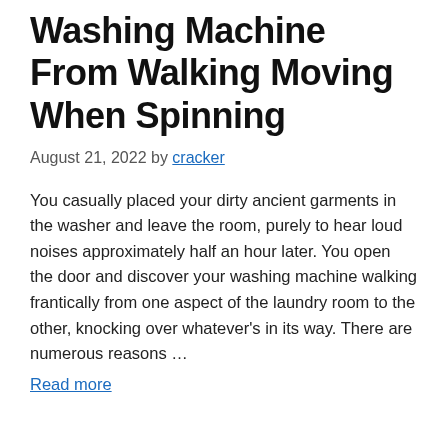Washing Machine From Walking Moving When Spinning
August 21, 2022 by cracker
You casually placed your dirty ancient garments in the washer and leave the room, purely to hear loud noises approximately half an hour later. You open the door and discover your washing machine walking frantically from one aspect of the laundry room to the other, knocking over whatever's in its way. There are numerous reasons …
Read more